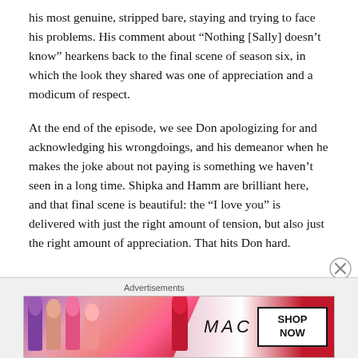his most genuine, stripped bare, staying and trying to face his problems. His comment about “Nothing [Sally] doesn’t know” hearkens back to the final scene of season six, in which the look they shared was one of appreciation and a modicum of respect.
At the end of the episode, we see Don apologizing for and acknowledging his wrongdoings, and his demeanor when he makes the joke about not paying is something we haven’t seen in a long time. Shipka and Hamm are brilliant here, and that final scene is beautiful: the “I love you” is delivered with just the right amount of tension, but also just the right amount of appreciation. That hits Don hard.
Advertisements
[Figure (photo): MAC cosmetics advertisement showing lipsticks in purple, peach, and pink colors on the left, the MAC logo in the center, and a 'SHOP NOW' button on the right.]